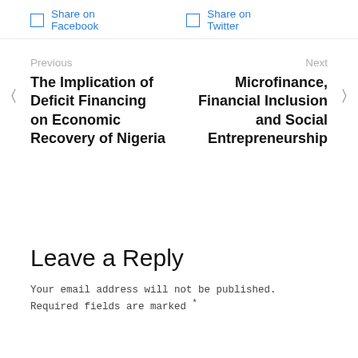Share on Facebook   Share on Twitter
Previous
The Implication of Deficit Financing on Economic Recovery of Nigeria
Next
Microfinance, Financial Inclusion and Social Entrepreneurship
Leave a Reply
Your email address will not be published. Required fields are marked *